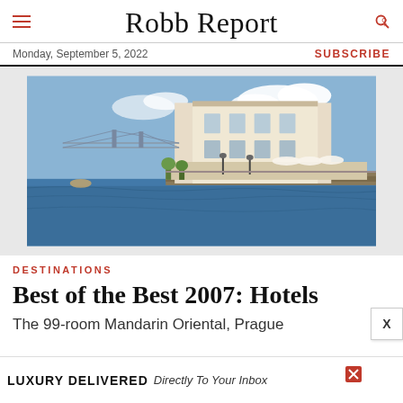Robb Report
Monday, September 5, 2022
SUBSCRIBE
[Figure (photo): Waterfront hotel building (Mandarin Oriental, Prague) with white facade, outdoor terrace, suspension bridge in background, blue water in foreground]
DESTINATIONS
Best of the Best 2007: Hotels
The 99-room Mandarin Oriental, Prague
LUXURY DELIVERED Directly To Your Inbox